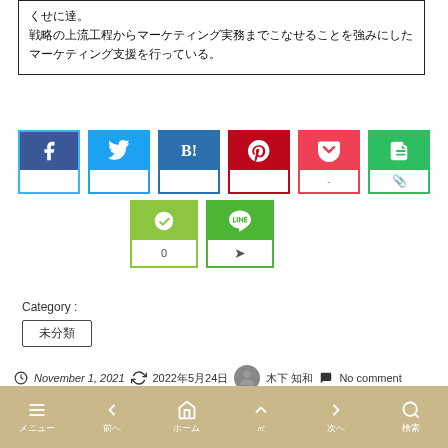戦略の上流工程からマーケティング実務までこなせることを強みにしたマーケティング支援を行っている。
[Figure (screenshot): Social share buttons: Facebook, Twitter, Hatena Bookmark, Pinterest, Pocket, Evernote (top row); Feedly, LINE (bottom row)]
Category :
未分類
November 1, 2021  2022年5月24日  木下 知和  No comment
メニュー  前へ  ホーム  (top)  次へ  検索